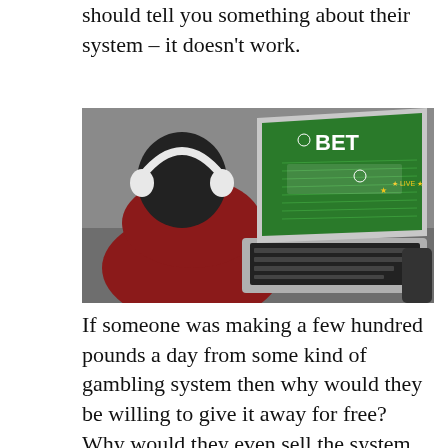should tell you something about their system – it doesn't work.
[Figure (photo): Person wearing white headphones and a red hoodie, viewed from behind, typing on a laptop. The laptop screen shows a green online betting interface with the word 'BET' prominently displayed and 'LIVE' indicator.]
If someone was making a few hundred pounds a day from some kind of gambling system then why would they be willing to give it away for free? Why would they even sell the system for a few pounds when it is apparently earning them thousands of pounds a week? Obviously their so-called system